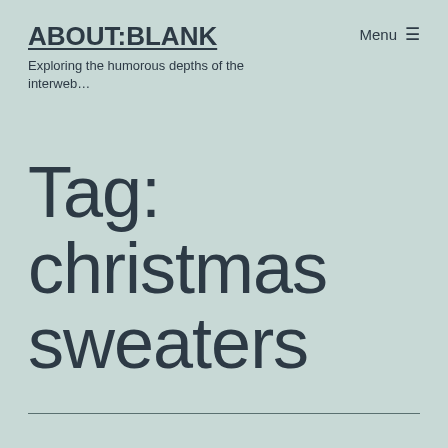ABOUT:BLANK
Exploring the humorous depths of the interweb…
Menu ☰
Tag: christmas sweaters